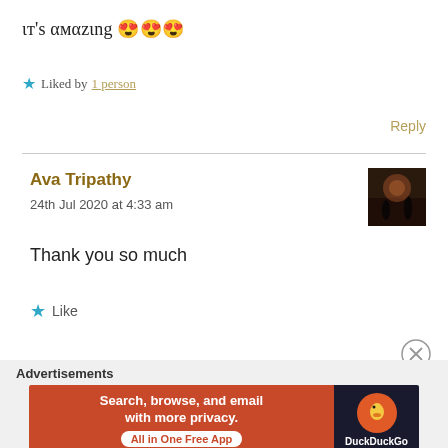ιт's αмαzιng 😍😍😍
★ Liked by 1 person
Reply
Ava Tripathy
24th Jul 2020 at 4:33 am
[Figure (photo): User avatar thumbnail showing silhouette against dark sky]
Thank you so much
★ Like
Advertisements
[Figure (screenshot): DuckDuckGo advertisement banner: Search, browse, and email with more privacy. All in One Free App.]